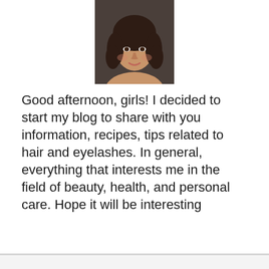[Figure (photo): Portrait photo of a young woman with curly dark hair and bangs, smiling, against a dark background.]
Good afternoon, girls! I decided to start my blog to share with you information, recipes, tips related to hair and eyelashes. In general, everything that interests me in the field of beauty, health, and personal care. Hope it will be interesting
About us
Contact
Privacy Policy & Cookies